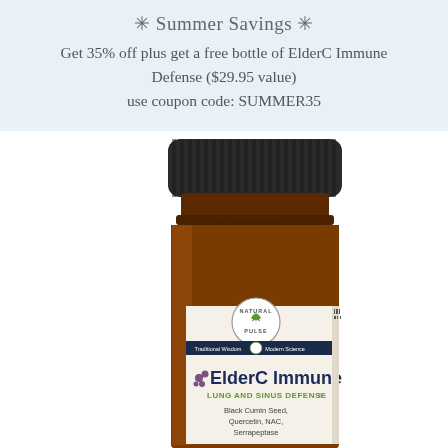✳ Summer Savings ✳
Get 35% off plus get a free bottle of ElderC Immune Defense ($29.95 value) use coupon code: SUMMER35
[Figure (photo): Amber glass supplement bottle with black cap labeled 'ElderC Immune - Lung and Sinus Defense' by Natural Pulse brand, showing ingredients: Black Cumin Seed, Quercetin, NAC, Serrapeptase]